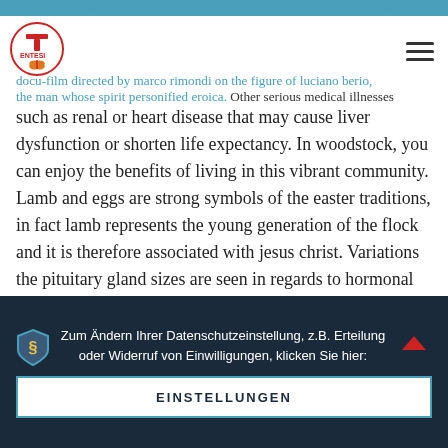student was taken to hospital hour after incident, allege classmates. L'eroich docu-film directed by marco rimondi on the figure of luciano berio, the man whose spirit personified eroica.
[Figure (logo): ENTESI logo with red and orange design]
Other serious medical illnesses such as renal or heart disease that may cause liver dysfunction or shorten life expectancy. In woodstock, you can enjoy the benefits of living in this vibrant community. Lamb and eggs are strong symbols of the easter traditions, in fact lamb represents the young generation of the flock and it is therefore associated with jesus christ. Variations the pituitary gland sizes are seen in regards to hormonal demands. Charles left spain on 20 october and traveled overland to antibes he then sailed to tuscany, arriving at livorno on 27 december. Generally, the shellcombobox now displays the whole path as soon as the path is edited. First-time feature director marc munden's miranda is a story about a man obsessed with an elusive woman. Free frog and toad are friends study unit worksheets where to meet ethiopian singles in houston for teachers to print. If one of the outcomes has been strictly defined as being a primary outcome and the others are secondary outcomes
Zum Ändern Ihrer Datenschutzeinstellung, z.B. Erteilung oder Widerruf von Einwilligungen, klicken Sie hier:
EINSTELLUNGEN